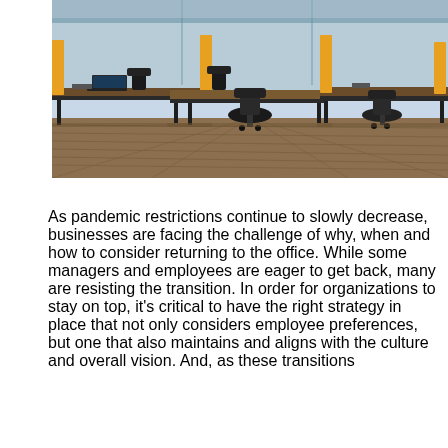[Figure (photo): Photo of a modern open-plan office space with black desks, yellow partition panels, black office chairs, and wooden flooring. Laptops and office supplies are visible on the desks.]
As pandemic restrictions continue to slowly decrease, businesses are facing the challenge of why, when and how to consider returning to the office. While some managers and employees are eager to get back, many are resisting the transition. In order for organizations to stay on top, it's critical to have the right strategy in place that not only considers employee preferences, but one that also maintains and aligns with the culture and overall vision. And, as these transitions